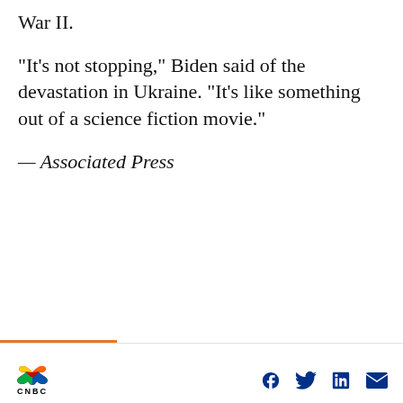War II.
“It’s not stopping,” Biden said of the devastation in Ukraine. “It’s like something out of a science fiction movie.”
— Associated Press
[Figure (screenshot): CNBC PRO advertisement card with headline: Here are Monday's biggest analyst calls: Tesla, Amazon, Exxon, Costco, Apple & more. Green Subscribe Now button. Dark green background. Close X button.]
CNBC logo with social sharing icons: Facebook, Twitter, LinkedIn, Email